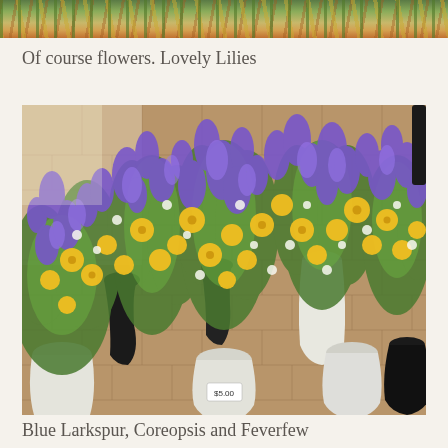[Figure (photo): Partial view of colorful flower arrangements at the top of the page]
Of course flowers. Lovely Lilies
[Figure (photo): Multiple bouquets of blue larkspur, yellow coreopsis, and white feverfew flowers arranged in white and black vases on a brick patio floor. A price tag reading $5.00 is visible on one white vase in the foreground center.]
Blue Larkspur,  Coreopsis and Feverfew